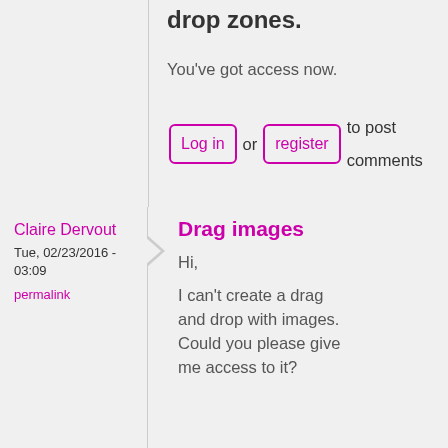drop zones.
You've got access now.
Log in or register to post comments
Claire Dervout
Tue, 02/23/2016 - 03:09
permalink
Drag images
Hi,
I can't create a drag and drop with images. Could you please give me access to it?